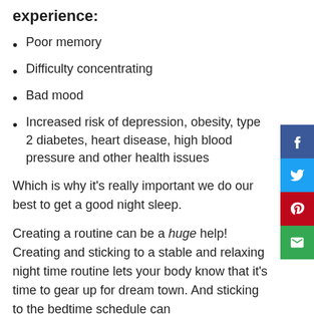experience:
Poor memory
Difficulty concentrating
Bad mood
Increased risk of depression, obesity, type 2 diabetes, heart disease, high blood pressure and other health issues
Which is why it's really important we do our best to get a good night sleep.
Creating a routine can be a huge help! Creating and sticking to a stable and relaxing night time routine lets your body know that it's time to gear up for dream town. And sticking to the bedtime schedule can